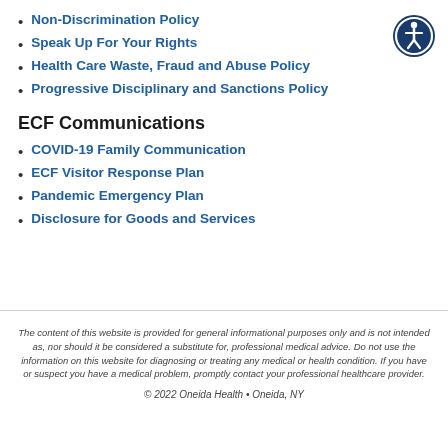Non-Discrimination Policy
Speak Up For Your Rights
Health Care Waste, Fraud and Abuse Policy
Progressive Disciplinary and Sanctions Policy
[Figure (illustration): Accessibility icon: circular dark blue badge with white human figure and surrounding circle suggesting accessibility]
ECF Communications
COVID-19 Family Communication
ECF Visitor Response Plan
Pandemic Emergency Plan
Disclosure for Goods and Services
The content of this website is provided for general informational purposes only and is not intended as, nor should it be considered a substitute for, professional medical advice. Do not use the information on this website for diagnosing or treating any medical or health condition. If you have or suspect you have a medical problem, promptly contact your professional healthcare provider.
© 2022 Oneida Health • Oneida, NY